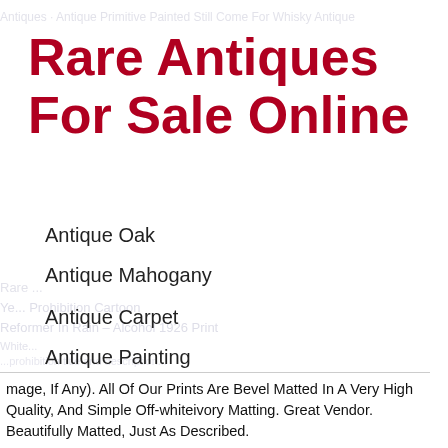Rare Antiques For Sale Online
Antique Oak
Antique Mahogany
Antique Carpet
Antique Painting
Antique Glass
Antique Plate
mage, If Any). All Of Our Prints Are Bevel Matted In A Very High Quality, And Simple Off-whiteivory Matting. Great Vendor. Beautifully Matted, Just As Described.